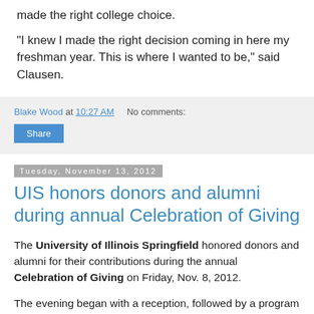made the right college choice.
“I knew I made the right decision coming in here my freshman year. This is where I wanted to be,” said Clausen.
Blake Wood at 10:27 AM   No comments:
Share
Tuesday, November 13, 2012
UIS honors donors and alumni during annual Celebration of Giving
The University of Illinois Springfield honored donors and alumni for their contributions during the annual Celebration of Giving on Friday, Nov. 8, 2012.
The evening began with a reception, followed by a program and dinner in the Sangamon Auditorium Lobby where donor’s contributions were recognized. Additionally, several